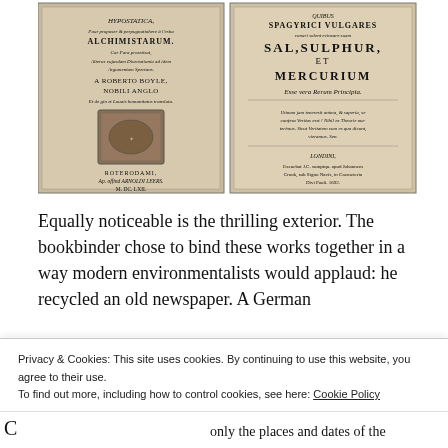[Figure (photo): Two old book title pages side by side. Left page: HYPOSTATICA, Pour proposer & perpugnatiohere à l'esha ALCHIMISTARUM, A ROBERTO BOYLE, NOBILI ANGLO. Right page: SPAGYRICI VULGARES, SAL, SULPHUR, ET MERCURIUM, Esse vera Rerum Principia. LONDINI, 1692.]
Equally noticeable is the thrilling exterior. The bookbinder chose to bind these works together in a way modern environmentalists would applaud: he recycled an old newspaper. A German
Privacy & Cookies: This site uses cookies. By continuing to use this website, you agree to their use.
To find out more, including how to control cookies, see here: Cookie Policy
Close and accept
C
only the places and dates of the